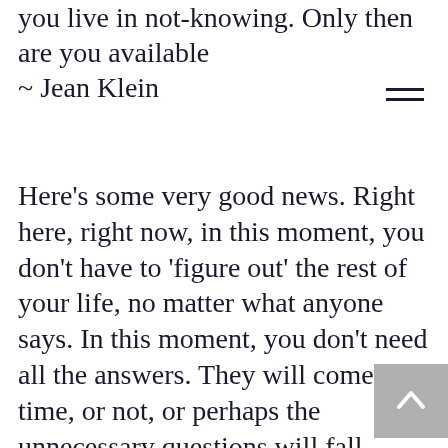you live in not-knowing. Only then are you available
~ Jean Klein
Here's some very good news. Right here, right now, in this moment, you don't have to 'figure out' the rest of your life, no matter what anyone says. In this moment, you don't need all the answers. They will come, in time, or not, or perhaps the unnecessary questions will fall away. There is no rush. Life is not in a hurry. Be like the seasons. Winter is not trying to become summer. Spring does not rush towards autumn. The grass grows at its own pace. The